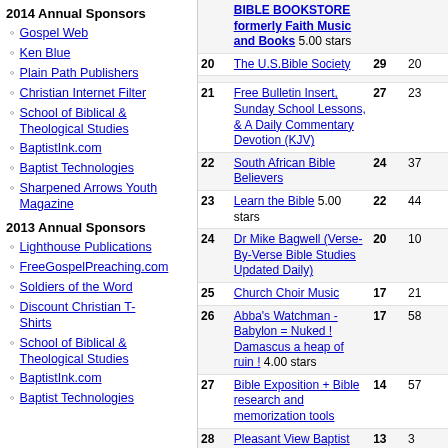2014 Annual Sponsors
Gospel Web
Ken Blue
Plain Path Publishers
Christian Internet Filter
School of Biblical & Theological Studies
BaptistInk.com
Baptist Technologies
Sharpened Arrows Youth Magazine
2013 Annual Sponsors
Lighthouse Publications
FreeGospelPreaching.com
Soldiers of the Word
Discount Christian T-Shirts
School of Biblical & Theological Studies
BaptistInk.com
Baptist Technologies
| # | Name | Col3 | Col4 |
| --- | --- | --- | --- |
|  | BIBLE BOOKSTORE formerly Faith Music and Books 5.00 stars |  |  |
| 20 | The U.S.Bible Society | 29 | 20 |
| 21 | Free Bulletin Insert, Sunday School Lessons, & A Daily Commentary Devotion (KJV) | 27 | 23 |
| 22 | South African Bible Believers | 24 | 37 |
| 23 | Learn the Bible 5.00 stars | 22 | 44 |
| 24 | Dr Mike Bagwell (Verse-By-Verse Bible Studies Updated Daily) | 20 | 10 |
| 25 | Church Choir Music | 17 | 21 |
| 26 | Abba's Watchman - Babylon = Nuked ! Damascus a heap of ruin ! 4.00 stars | 17 | 58 |
| 27 | Bible Exposition + Bible research and memorization tools | 14 | 57 |
| 28 | Pleasant View Baptist Church | 13 | 3 |
| 29 | LIBERTY BAPTIST CHURCH - HEAR FUNDAMENTAL PREACHING!! ◆◆◆◆◆BOWDON, GA. | 13 | 39 |
| 30 | Haven of Rest - IFB Ladies Message Board | 12 | 20 |
| 31 | THE OPEN DOOR BAPTIST CHURCH | 10 | 1 |
| 32 | Cobblestone Road Ministries - Christian Apologetics, Bible Prophecy, Many Resources and Links | 9 | 43 |
| 33 | Divided by Truth | 8 | 55 |